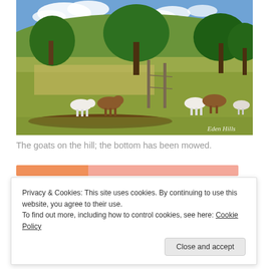[Figure (photo): Outdoor pastoral scene showing goats grazing on a grassy hillside with trees, a blue sky with clouds, and a wooden fence. A watermark reading 'Eden Hills' is visible in the lower right corner.]
The goats on the hill; the bottom has been mowed.
Privacy & Cookies: This site uses cookies. By continuing to use this website, you agree to their use.
To find out more, including how to control cookies, see here: Cookie Policy